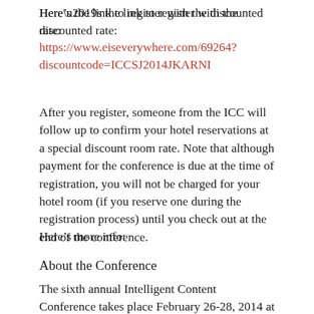Here’s the link to register with the discounted rate:
https://www.eiseverywhere.com/69264?discountcode=ICCSJ2014JKARNI
After you register, someone from the ICC will follow up to confirm your hotel reservations at a special discount room rate. Note that although payment for the conference is due at the time of registration, you will not be charged for your hotel room (if you reserve one during the registration process) until you check out at the end of the conference.
Here’s more info:
About the Conference
The sixth annual Intelligent Content Conference takes place February 26-28, 2014 at the Doubletree Hotel in San Jose, CA. The event will acquaint attendees with the